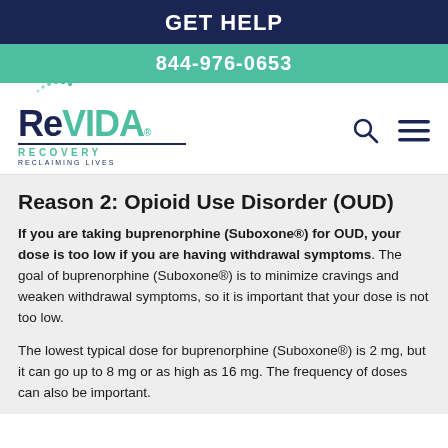GET HELP
844-976-0653
[Figure (logo): ReVIDA Recovery logo with dots arc, tagline RECLAIMING LIVES]
Reason 2: Opioid Use Disorder (OUD)
If you are taking buprenorphine (Suboxone®) for OUD, your dose is too low if you are having withdrawal symptoms. The goal of buprenorphine (Suboxone®) is to minimize cravings and weaken withdrawal symptoms, so it is important that your dose is not too low.
The lowest typical dose for buprenorphine (Suboxone®) is 2 mg, but it can go up to 8 mg or as high as 16 mg. The frequency of doses can also be important.